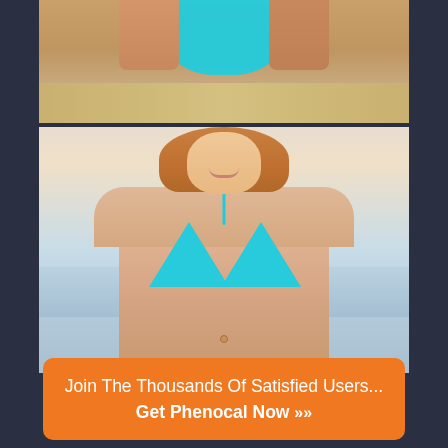[Figure (photo): Two stacked photos showing women in turquoise bikinis at a beach. Top photo shows lower torso/midsection area. Bottom photo shows a smiling woman with reddish-brown hair wearing a turquoise triangle bikini top at a beach.]
Join The Thousands Of Satisfied Users... Get Phenocal Now »»